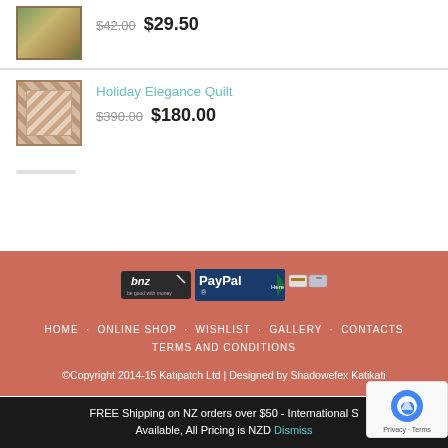[Figure (photo): Partial product image - landscape/scenery artwork thumbnail]
$42.00  $29.50
[Figure (photo): Holiday Elegance Quilt product thumbnail - geometric quilt pattern]
Holiday Elegance Quilt
$390.00  $180.00
[Figure (logo): Payment logos: BNZ, PayPal Here, and credit card icons]
HOME  ONLINE SHOP  WISHLIST  GALLERY  CONTACTS  TERMS AND CONDITIONS
©Copyright 2014-15 Katipatch Ltd | Designed by Shadowefex Katikati
FREE Shipping on NZ orders over $50 - International Shipping Available, All Pricing is NZD  Dismiss